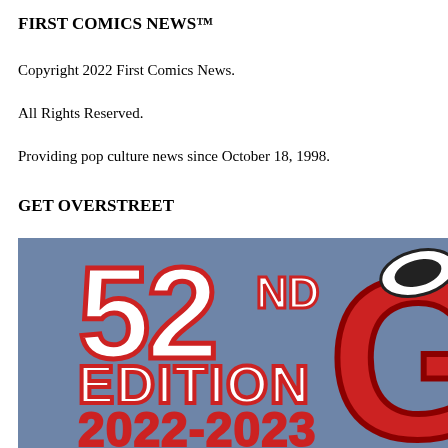FIRST COMICS NEWS™
Copyright 2022 First Comics News.
All Rights Reserved.
Providing pop culture news since October 18, 1998.
GET OVERSTREET
[Figure (illustration): Book cover showing '52nd Edition 2022-2023' text on a blue background with large red letters, partial view of the Overstreet Comic Book Price Guide cover]